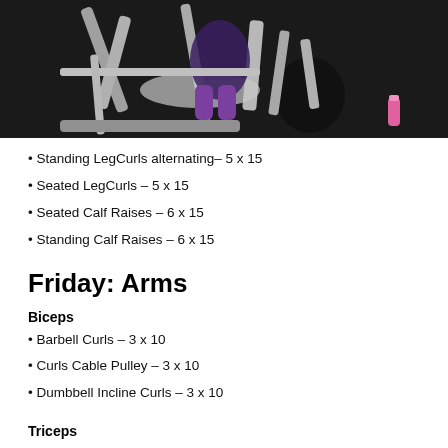[Figure (photo): Person using a leg curl / leg press machine in a gym. Equipment is silver/grey, person wearing dark and purple workout clothes. A pink water bottle is visible on the floor.]
• Standing LegCurls alternating– 5 x 15
• Seated LegCurls – 5 x 15
• Seated Calf Raises – 6 x 15
• Standing Calf Raises – 6 x 15
Friday: Arms
Biceps
• Barbell Curls – 3 x 10
• Curls Cable Pulley – 3 x 10
• Dumbbell Incline Curls – 3 x 10
Triceps
• Close Grip Bench 3x 10
• Kickbacks – 3 x 10